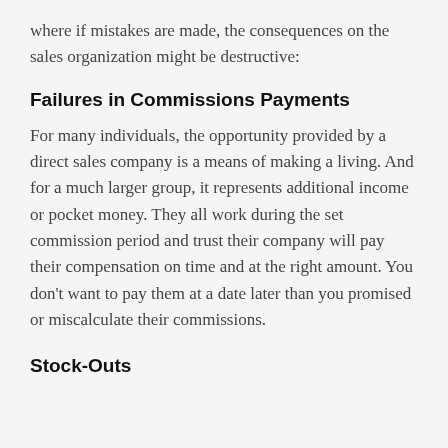where if mistakes are made, the consequences on the sales organization might be destructive:
Failures in Commissions Payments
For many individuals, the opportunity provided by a direct sales company is a means of making a living. And for a much larger group, it represents additional income or pocket money. They all work during the set commission period and trust their company will pay their compensation on time and at the right amount. You don't want to pay them at a date later than you promised or miscalculate their commissions.
Stock-Outs